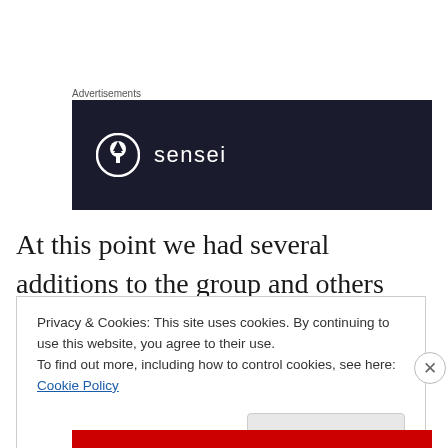Advertisements
[Figure (logo): Sensei logo on dark navy background — circle icon with tree symbol and text 'sensei']
At this point we had several additions to the group and others were getting tired and/or had been imbibing for awhile, hence the move to some more straightforward party-style games.
Privacy & Cookies: This site uses cookies. By continuing to use this website, you agree to their use.
To find out more, including how to control cookies, see here: Cookie Policy
Close and accept